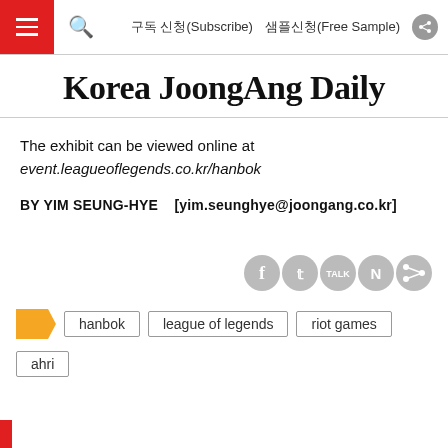Korea JoongAng Daily — navigation bar with hamburger menu, search, 구독 신청(Subscribe), 샘플신청(Free Sample), share
Korea JoongAng Daily
The exhibit can be viewed online at event.leagueoflegends.co.kr/hanbok
BY YIM SEUNG-HYE   [yim.seunghye@joongang.co.kr]
[Figure (infographic): Social sharing icons: Facebook (f), Twitter (bird), KakaoTalk (TALK), Naver (N), and a share icon — all grey circles]
hanbok
league of legends
riot games
ahri